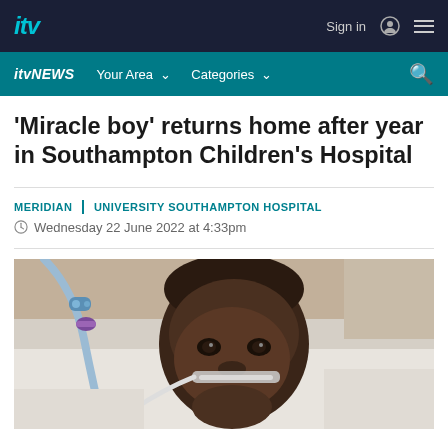ITV | Sign in
itv NEWS | Your Area | Categories
'Miracle boy' returns home after year in Southampton Children's Hospital
MERIDIAN | UNIVERSITY SOUTHAMPTON HOSPITAL
Wednesday 22 June 2022 at 4:33pm
[Figure (photo): A young Black child lying in a hospital bed connected to medical tubes and equipment, including what appears to be a breathing tube or oxygen supply over the nose and mouth, resting on white pillows.]